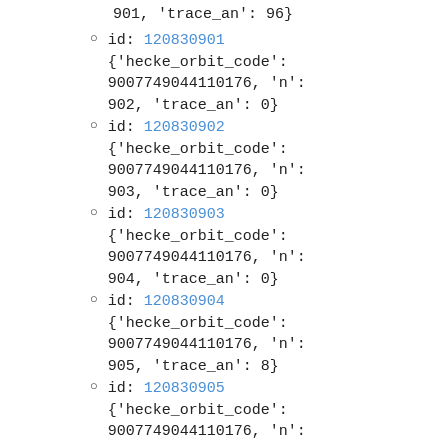901, 'trace_an': 96}
id: 120830901 {'hecke_orbit_code': 9007749044110176, 'n': 902, 'trace_an': 0}
id: 120830902 {'hecke_orbit_code': 9007749044110176, 'n': 903, 'trace_an': 0}
id: 120830903 {'hecke_orbit_code': 9007749044110176, 'n': 904, 'trace_an': 0}
id: 120830904 {'hecke_orbit_code': 9007749044110176, 'n': 905, 'trace_an': 8}
id: 120830905 {'hecke_orbit_code': 9007749044110176, 'n':